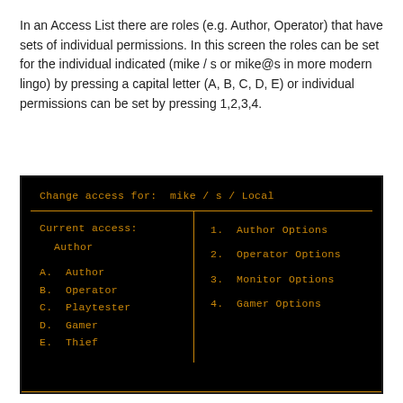In an Access List there are roles (e.g. Author, Operator) that have sets of individual permissions. In this screen the roles can be set for the individual indicated (mike / s or mike@s in more modern lingo) by pressing a capital letter (A, B, C, D, E) or individual permissions can be set by pressing 1,2,3,4.
[Figure (screenshot): A black terminal screen showing a change access dialog. Header reads 'Change access for: mike / s / Local'. Left panel shows 'Current access: Author' and lists A. Author, B. Operator, C. Playtester, D. Gamer, E. Thief. Right panel lists 1. Author Options, 2. Operator Options, 3. Monitor Options, 4. Gamer Options. All text is in amber/orange on black background.]